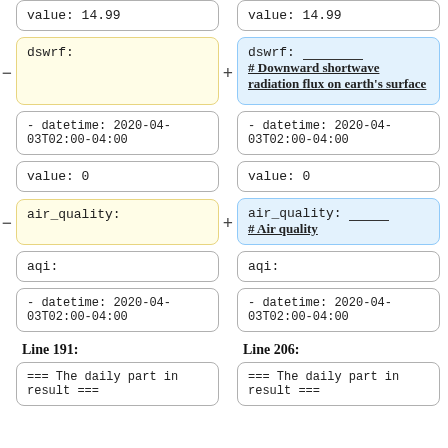value: 14.99
value: 14.99
dswrf:
dswrf: _____ # Downward shortwave radiation flux on earth's surface
- datetime: 2020-04-03T02:00-04:00
- datetime: 2020-04-03T02:00-04:00
value: 0
value: 0
air_quality:
air_quality: _____ # Air quality
aqi:
aqi:
- datetime: 2020-04-03T02:00-04:00
- datetime: 2020-04-03T02:00-04:00
Line 191:
Line 206:
=== The daily part in result ===
=== The daily part in result ===